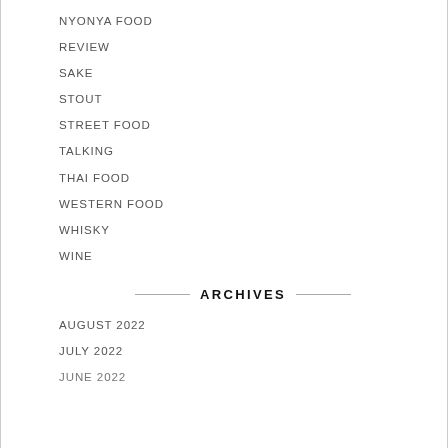NYONYA FOOD
REVIEW
SAKE
STOUT
STREET FOOD
TALKING
THAI FOOD
WESTERN FOOD
WHISKY
WINE
ARCHIVES
AUGUST 2022
JULY 2022
JUNE 2022